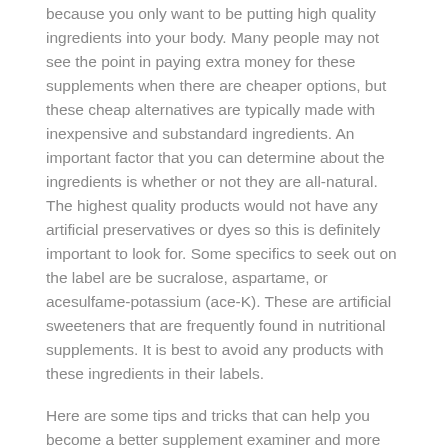because you only want to be putting high quality ingredients into your body. Many people may not see the point in paying extra money for these supplements when there are cheaper options, but these cheap alternatives are typically made with inexpensive and substandard ingredients. An important factor that you can determine about the ingredients is whether or not they are all-natural. The highest quality products would not have any artificial preservatives or dyes so this is definitely important to look for. Some specifics to seek out on the label are be sucralose, aspartame, or acesulfame-potassium (ace-K). These are artificial sweeteners that are frequently found in nutritional supplements. It is best to avoid any products with these ingredients in their labels.
Here are some tips and tricks that can help you become a better supplement examiner and more informed in your buying process.
COLLAGEN:
If you find yourself browsing for a collagen supplement, or any other supplement that may contain collagen, it is important to know what to look for. Determining whether or not the product is